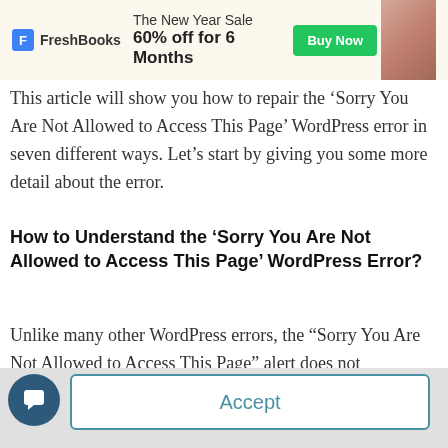[Figure (screenshot): FreshBooks advertisement banner: 'The New Year Sale 60% off for 6 Months' with Buy Now button and woman photo]
This article will show you how to repair the ‘Sorry You Are Not Allowed to Access This Page’ WordPress error in seven different ways. Let’s start by giving you some more detail about the error.
How to Understand the ‘Sorry You Are Not Allowed to Access This Page’ WordPress Error?
Unlike many other WordPress errors, the “Sorry You Are Not Allowed to Access This Page” alert does not
[Figure (screenshot): Chat popup widget showing avatar, close button (x), and text 'Got any questions? I’m happy to help.' Partially overlaid on the article. Consent text visible on right: 'consent' and 'nd our service.']
Accept
[Figure (screenshot): Chat widget button (dark blue circle with speech bubble icon) at bottom left]